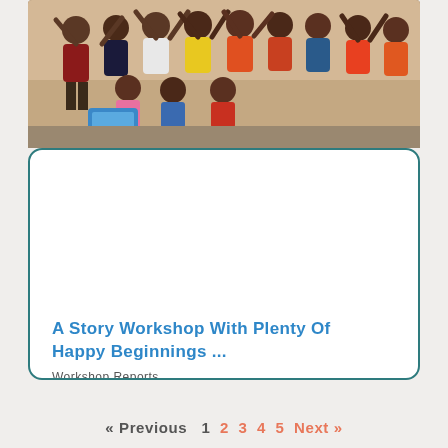[Figure (photo): Group of children sitting and standing, many with arms raised, in an indoor setting. Children are wearing colorful clothes.]
A Story workshop with plenty of happy beginnings ...
Workshop Reports
CBN was privileged to welcome Nina and Michael Grimm, from Rottweil, to a workshop on 3 January 2019. The title of the workshop was
Read more
« Previous 1 2 3 4 5 Next »